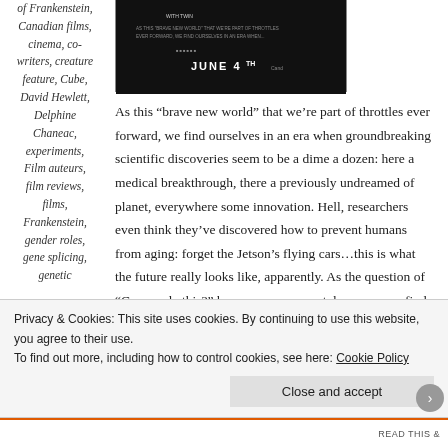of Frankenstein, Canadian films, cinema, co-writers, creature feature, Cube, David Hewlett, Delphine Chaneac, experiments, Film auteurs, film reviews, films, Frankenstein, gender roles, gene splicing, genetic
[Figure (photo): Dark movie promotional image with text 'JUNE 4TH' at the bottom]
As this “brave new world” that we’re part of throttles ever forward, we find ourselves in an era when groundbreaking scientific discoveries seem to be a dime a dozen: here a medical breakthrough, there a previously undreamed of planet, everywhere some innovation. Hell, researchers even think they’ve discovered how to prevent humans from aging: forget the Jetson’s flying cars…this is what the future really looks like, apparently. As the question of “Can we do this?” becomes more moot, however, we find
Privacy & Cookies: This site uses cookies. By continuing to use this website, you agree to their use.
To find out more, including how to control cookies, see here: Cookie Policy
Close and accept